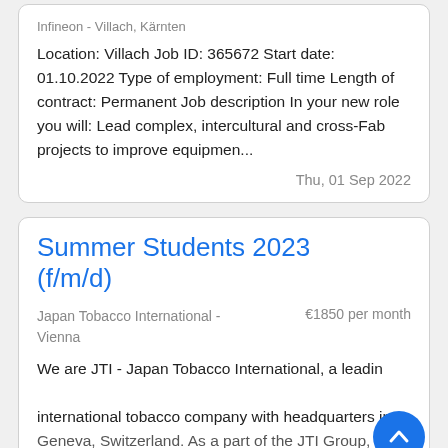Infineon - Villach, Kärnten
Location: Villach Job ID: 365672 Start date: 01.10.2022 Type of employment: Full time Length of contract: Permanent Job description In your new role you will: Lead complex, intercultural and cross-Fab projects to improve equipmen...
Thu, 01 Sep 2022
Summer Students 2023 (f/m/d)
Japan Tobacco International - Vienna   €1850 per month
We are JTI - Japan Tobacco International, a leading international tobacco company with headquarters in Geneva, Switzerland. As a part of the JTI Group, JTI...